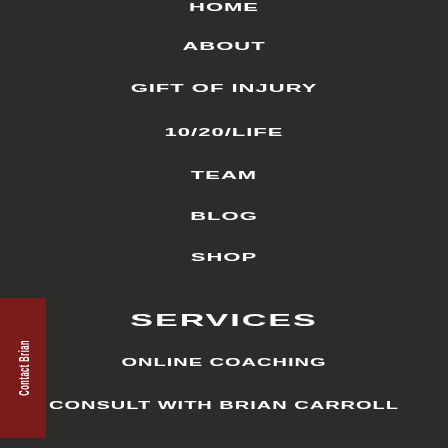HOME
ABOUT
GIFT OF INJURY
10/20/LIFE
TEAM
BLOG
SHOP
SERVICES
ONLINE COACHING
CONSULT WITH BRIAN CARROLL
Contact Brian